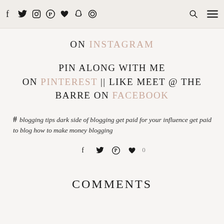f  twitter  instagram  pinterest  ♥  snapchat  ⊙   [search]  [menu]
ON INSTAGRAM
PIN ALONG WITH ME ON PINTEREST || LIKE MEET @ THE BARRE ON FACEBOOK
# blogging tips dark side of blogging get paid for your influence get paid to blog how to make money blogging
f  twitter  pinterest  ♥  0
COMMENTS